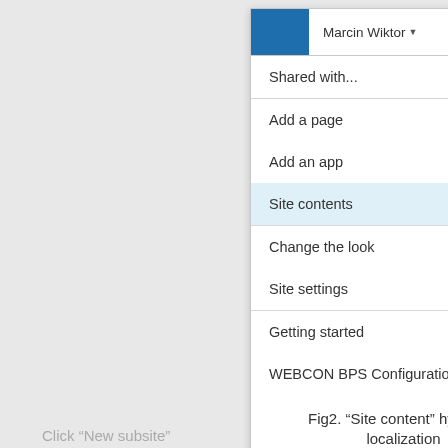[Figure (screenshot): A dropdown menu screenshot showing SharePoint settings menu with items: Shared with..., Add a page, Add an app, Site contents (highlighted in blue), Change the look, Site settings, Getting started, WEBCON BPS Configuration. Header shows Marcin Wiktor user name and gear icon.]
Fig2. “Site content” hyperlink localization
Click “New subsite”